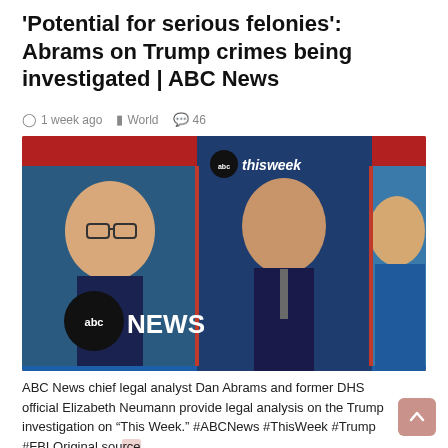'Potential for serious felonies': Abrams on Trump crimes being investigated | ABC News
1 week ago   World   46
[Figure (screenshot): ABC This Week TV screenshot showing three panelists — two men and one woman — on an ABC News set with abc NEWS logo at lower left and abc thisweek logo at top center. Red and blue studio background.]
ABC News chief legal analyst Dan Abrams and former DHS official Elizabeth Neumann provide legal analysis on the Trump investigation on “This Week.” #ABCNews #ThisWeek #Trump #FBI Original source (ABC/Youtube)